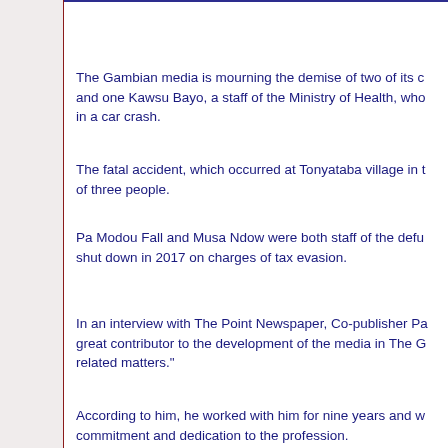The Gambian media is mourning the demise of two of its c... and one Kawsu Bayo, a staff of the Ministry of Health, who... in a car crash.
The fatal accident, which occurred at Tonyataba village in t... of three people.
Pa Modou Fall and Musa Ndow were both staff of the defu... shut down in 2017 on charges of tax evasion.
In an interview with The Point Newspaper, Co-publisher Pa... great contributor to the development of the media in The G... related matters."
According to him, he worked with him for nine years and w... commitment and dedication to the profession.
He added that Pa Modou Faal was a great personality who... people which gained him lots of friends all over the country... respect for people especially for the elderly which is very ra...
The media fraternity, he added, will always remember him ... vibrant journalist who had so much passion for the job. "Th... fraternity. May their souls rest in perfect peace."
Speaking to this medium, the former minister of Informatio...